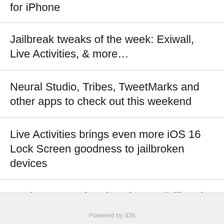for iPhone
Jailbreak tweaks of the week: Exiwall, Live Activities, & more…
Neural Studio, Tribes, TweetMarks and other apps to check out this weekend
Live Activities brings even more iOS 16 Lock Screen goodness to jailbroken devices
CoolStar says that the Cheyote jailbreak for iOS 15.0-15.1.1 is still more than 4 weeks out
Powered by iDB